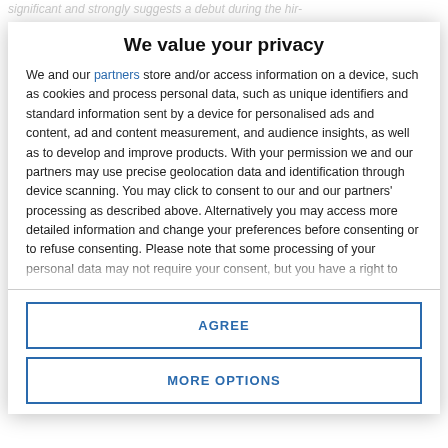significant and strongly suggests a debut during the hir-
We value your privacy
We and our partners store and/or access information on a device, such as cookies and process personal data, such as unique identifiers and standard information sent by a device for personalised ads and content, ad and content measurement, and audience insights, as well as to develop and improve products. With your permission we and our partners may use precise geolocation data and identification through device scanning. You may click to consent to our and our partners' processing as described above. Alternatively you may access more detailed information and change your preferences before consenting or to refuse consenting. Please note that some processing of your personal data may not require your consent, but you have a right to
AGREE
MORE OPTIONS